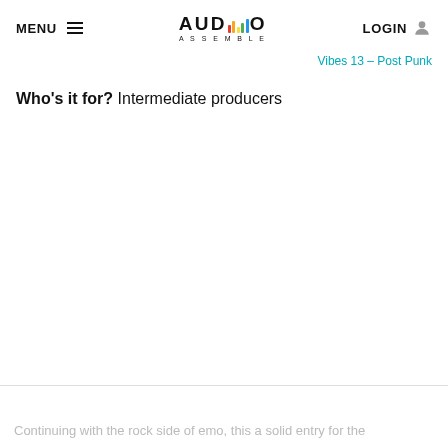MENU  AUDIO ASSEMBLE  LOGIN
Vibes 13 – Post Punk
Who's it for? Intermediate producers
Continuing with the rock side of emo, this a solid entry for the